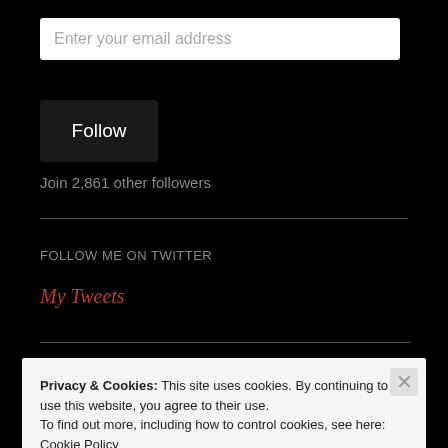Enter your email address
Follow
Join 2,861 other followers
FOLLOW ME ON TWITTER
My Tweets
Privacy & Cookies: This site uses cookies. By continuing to use this website, you agree to their use. To find out more, including how to control cookies, see here: Cookie Policy
Close and accept